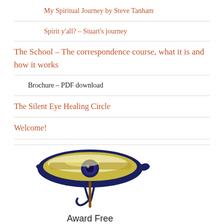My Spiritual Journey by Steve Tanham
Spirit y'all? – Stuart's journey
The School – The correspondence course, what it is and how it works
Brochure – PDF download
The Silent Eye Healing Circle
Welcome!
[Figure (illustration): Eye of Ra / Eye of Horus Egyptian symbol illustration in blue and gold, with text 'Award Free' below it]